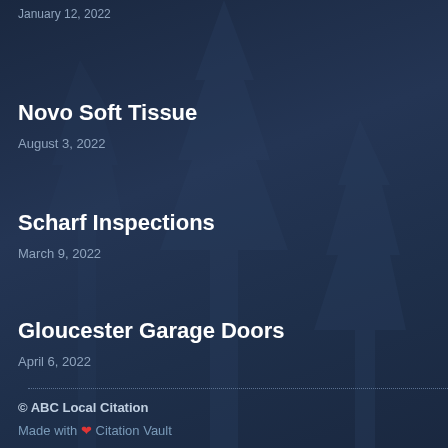January 12, 2022
Novo Soft Tissue
August 3, 2022
Scharf Inspections
March 9, 2022
Gloucester Garage Doors
April 6, 2022
© ABC Local Citation
Made with ❤ Citation Vault